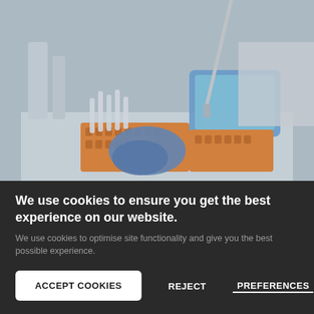[Figure (photo): Laboratory scene showing a gloved hand (blue latex glove) handling orange tube racks with test tubes/vials. A tablet device is visible in the background, along with laboratory equipment. The image has a grayish-blue tint.]
We use cookies to ensure you get the best experience on our website.
We use cookies to optimise site functionality and give you the best possible experience.
ACCEPT COOKIES
REJECT
PREFERENCES